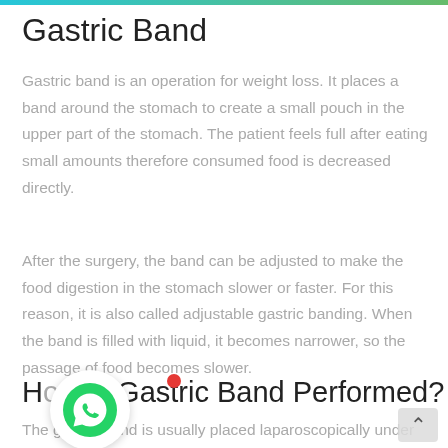Gastric Band
Gastric band is an operation for weight loss. It places a band around the stomach to create a small pouch in the upper part of the stomach. The patient feels full after eating small amounts therefore consumed food is decreased directly.
After the surgery, the band can be adjusted to make the food digestion in the stomach slower or faster. For this reason, it is also called adjustable gastric banding. When the band is filled with liquid, it becomes narrower, so the passage of food becomes slower.
How is Gastric Band Performed?
The gastric band is usually placed laparoscopically under general anesthesia.